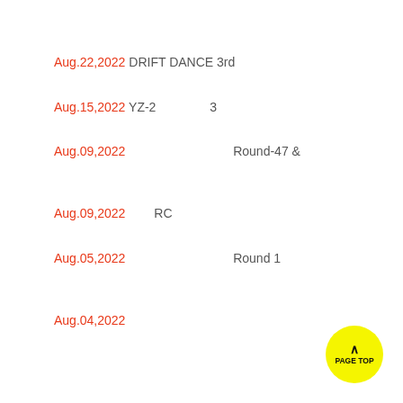Aug.22,2022 DRIFT DANCE 3rd
Aug.15,2022 YZ-2　　　　 3
Aug.09,2022 　　　　　　　　 Round-47 &
Aug.09,2022 　　RC
Aug.05,2022 　　　　　　　　 Round 1
Aug.04,2022